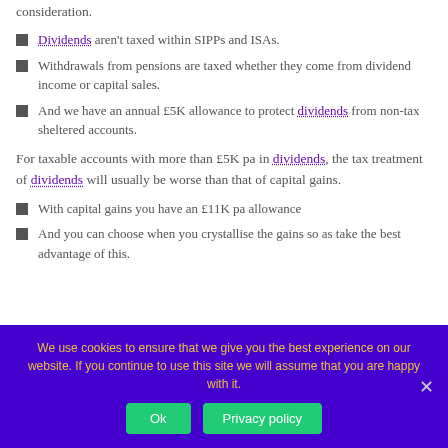consideration.
Dividends aren't taxed within SIPPs and ISAs.
Withdrawals from pensions are taxed whether they come from dividend income or capital sales.
And we have an annual £5K allowance to protect dividends from non-tax sheltered accounts.
For taxable accounts with more than £5K pa in dividends, the tax treatment of dividends will usually be worse than that of capital gains.
With capital gains you have an £11K pa allowance
And you can choose when you crystallise the gains so as take the best advantage of this.
We use cookies to ensure that we give you the best experience on our website. If you continue to use this site we will assume that you are happy with it.